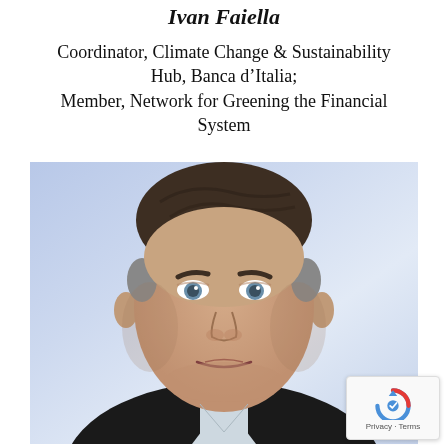Ivan Faiella
Coordinator, Climate Change & Sustainability Hub, Banca d'Italia; Member, Network for Greening the Financial System
[Figure (photo): Professional headshot of Ivan Faiella, a middle-aged man with brown hair, light eyes, wearing a dark suit and light shirt. Light blue-white gradient background.]
Privacy · Terms